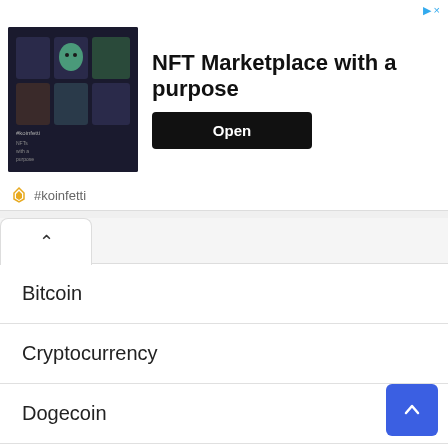[Figure (screenshot): NFT Marketplace advertisement banner with dark-themed image on left showing NFT artwork, bold title text 'NFT Marketplace with a purpose' in center, black 'Open' button on right, and '#koinfetti' label at bottom with small icon.]
Bitcoin
Cryptocurrency
Dogecoin
Ethereum
Litecoin
Uncategorized